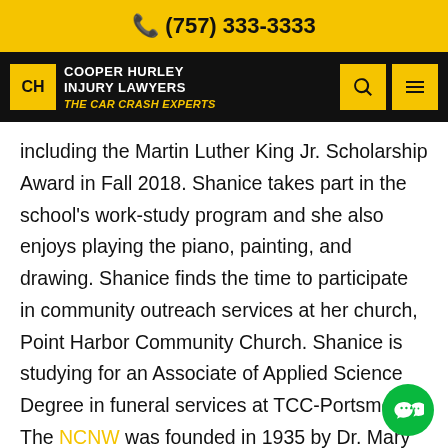📞 (757) 333-3333
Cooper Hurley Injury Lawyers — The Car Crash Experts
including the Martin Luther King Jr. Scholarship Award in Fall 2018. Shanice takes part in the school's work-study program and she also enjoys playing the piano, painting, and drawing. Shanice finds the time to participate in community outreach services at her church, Point Harbor Community Church. Shanice is studying for an Associate of Applied Science Degree in funeral services at TCC-Portsmouth. The NCNW was founded in 1935 by Dr. Mary McLeod Bethune, an influential activist and educator. The organization promotes education with a focus on science,